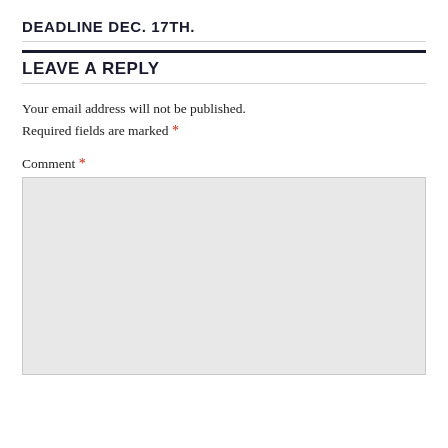DEADLINE DEC. 17TH.
LEAVE A REPLY
Your email address will not be published. Required fields are marked *
Comment *